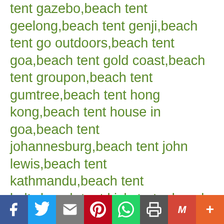tent gazebo,beach tent geelong,beach tent genji,beach tent go outdoors,beach tent goa,beach tent gold coast,beach tent groupon,beach tent gumtree,beach tent hong kong,beach tent house in goa,beach tent johannesburg,beach tent john lewis,beach tent kathmandu,beach tent kelty,beach tent kickstarter,beach tent kijiji,beach tent kmart,beach tent kmart australia,beach tent kohls,beach tent kopen,beach tent large,beach tent lidl,beach tent lightweight,beach tent ll bean,beach tent lowes,beach tent makro,beach tent malaysia,beach tent manufacturers,beach tent masters,beach tent mec,beach tent melbourne,beach tent millets,beach tent mothercare,beach tent mountain warehouse,beach tent name,beach tent new zealand,beach tent newquay,beach tent next day delivery,beach tent nivea,beach tent no floor,beach tent nz,beach tent ollies,beach tent on sale,beach tent one step ahead,beach tent ottawa,beach tent oztrail,beach tent pegs,beach tent perth,beach tent philippines,beach tent pop up,beach tent price,beach tent qatar,beach tent qeedo,beach tent quechua,beach tent
[Figure (infographic): Social media sharing bar with icons for Facebook, Twitter, Email, Pinterest, WhatsApp, Print, Gmail, and a plus button]